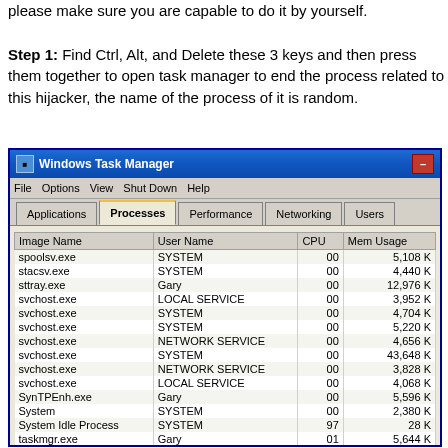please make sure you are capable to do it by yourself. Step 1: Find Ctrl, Alt, and Delete these 3 keys and then press them together to open task manager to end the process related to this hijacker, the name of the process of it is random.
[Figure (screenshot): Windows Task Manager screenshot showing the Processes tab with a list of running processes including spoolsv.exe, stacsv.exe, sttray.exe, svchost.exe (multiple), SynTPEnh.exe, System, System Idle Process, taskmgr.exe, ToolbarUpdater.exe, UniversalCommuni..., and umat.exe with their User Name, CPU, and Mem Usage columns.]